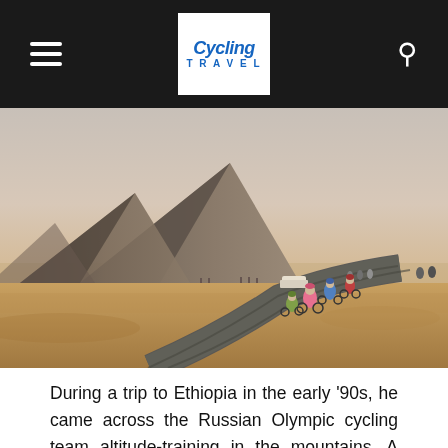Cycling Travel (navigation bar with logo)
[Figure (photo): Cyclists riding on a road past the Great Pyramids of Giza in Egypt. The pyramids dominate the left background against a hazy sky. Sandy desert terrain visible on both sides of the road. Several cyclists in colorful gear, one prominently in pink, riding away from the camera. A vehicle visible in the mid-distance.]
During a trip to Ethiopia in the early '90s, he came across the Russian Olympic cycling team altitude-training in the mountains. A colleague, knowing Gold's inclination to tackle challenging projects, teased him that he should organize a